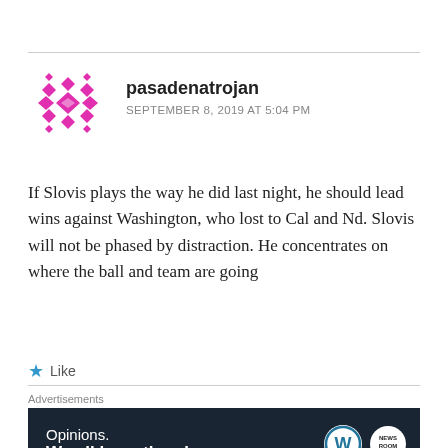[Figure (illustration): WordPress comment avatar - pink/magenta geometric diamond pattern snowflake icon]
pasadenatrojan
SEPTEMBER 8, 2019 AT 5:04 PM
If Slovis plays the way he did last night, he should lead wins against Washington, who lost to Cal and Nd. Slovis will not be phased by distraction. He concentrates on where the ball and team are going
Like
Advertisements
[Figure (screenshot): WordPress advertisement banner: dark navy background with text 'Opinions. We all have them!' and WordPress logo and NewsRoom logo on the right.]